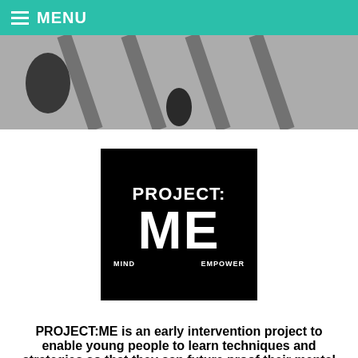MENU
[Figure (photo): Black and white photo showing feet/legs walking on a textured surface, viewed from above]
[Figure (logo): PROJECT:ME logo — black background with white bold text reading PROJECT: ME, with MIND and EMPOWER at the bottom]
PROJECT:ME is an early intervention project to enable young people to learn techniques and strategies so that they can future proof their mental health, improve in